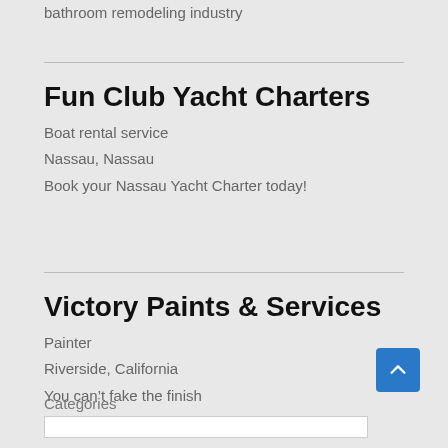bathroom remodeling industry
Fun Club Yacht Charters
Boat rental service
Nassau, Nassau
Book your Nassau Yacht Charter today!
Victory Paints & Services
Painter
Riverside, California
You can't fake the finish
Categories